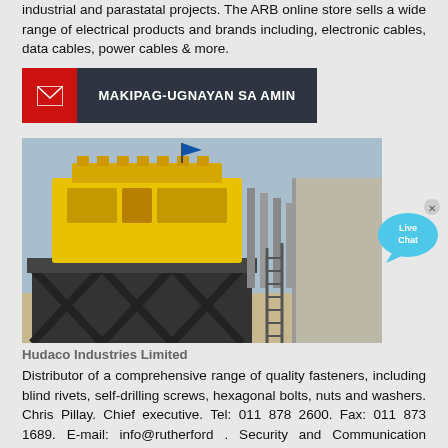industrial and parastatal projects. The ARB online store sells a wide range of electrical products and brands including, electronic cables, data cables, power cables & more.
[Figure (other): Red and dark grey contact banner with email icon and text MAKIPAG-UGNAYAN SA AMIN]
[Figure (photo): Industrial heavy machinery (yellow crusher/shredder) mounted on a steel frame structure at a construction or mining site]
[Figure (other): Live Chat speech bubble icon in blue]
Hudaco Industries Limited
Distributor of a comprehensive range of quality fasteners, including blind rivets, self-drilling screws, hexagonal bolts, nuts and washers. Chris Pillay. Chief executive. Tel: 011 878 2600. Fax: 011 873 1689. E-mail: info@rutherford . Security and Communication Equipment. Elvey Security Technologies.